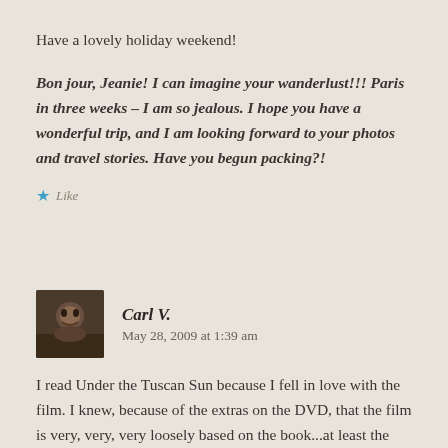Have a lovely holiday weekend!
Bon jour, Jeanie! I can imagine your wanderlust!!! Paris in three weeks – I am so jealous. I hope you have a wonderful trip, and I am looking forward to your photos and travel stories. Have you begun packing?!
Like
Carl V.   May 28, 2009 at 1:39 am
I read Under the Tuscan Sun because I fell in love with the film. I knew, because of the extras on the DVD, that the film is very, very, very loosely based on the book...at least the main romantic plot thread. The stuff about living there and